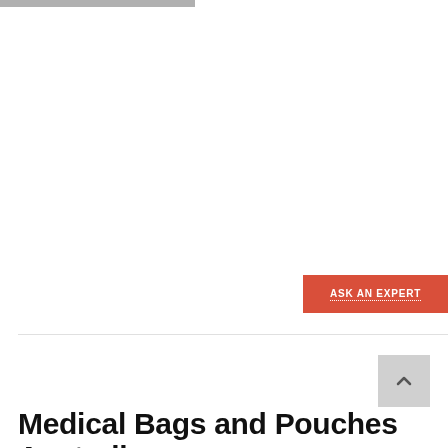[Figure (other): Red 'ASK AN EXPERT' button with white dotted underline text on red background]
Medical Bags and Pouches Australia